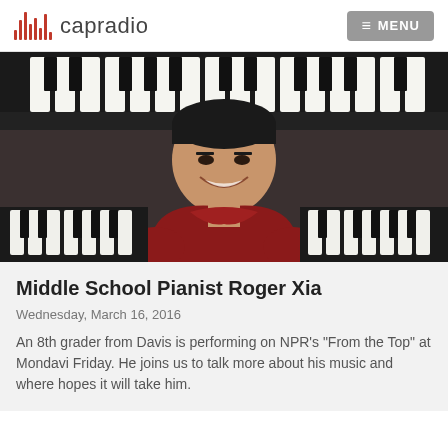capradio  MENU
[Figure (photo): A young male student smiling in front of a piano keyboard, wearing a red shirt. The photo shows him from the shoulders up with the piano keys visible in the background.]
Middle School Pianist Roger Xia
Wednesday, March 16, 2016
An 8th grader from Davis is performing on NPR's "From the Top" at Mondavi Friday. He joins us to talk more about his music and where hopes it will take him.